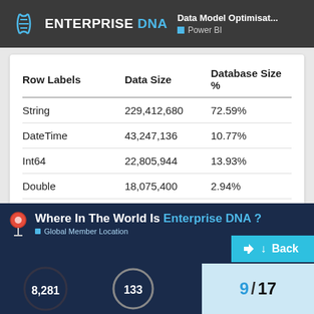ENTERPRISE DNA — Data Model Optimisat... Power BI
| Row Labels | Data Size | Database Size % |
| --- | --- | --- |
| String | 229,412,680 | 72.59% |
| DateTime | 43,247,136 | 10.77% |
| Int64 | 22,805,944 | 13.93% |
| Double | 18,075,400 | 2.94% |
| Grand Total | 313,541,160 | 100.00% |
[Figure (screenshot): Where In The World Is Enterprise DNA? Global Member Location dashboard with numbers 8,281 and 133, page indicator 9/17 and Back button]